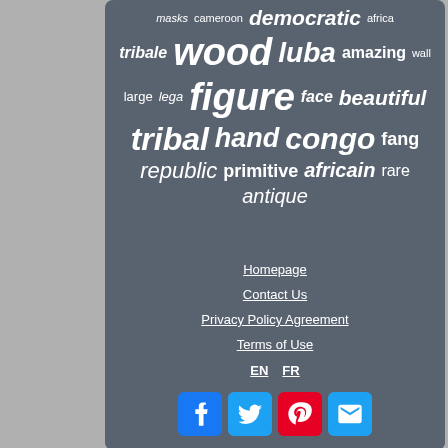[Figure (infographic): Word cloud on dark slate background with terms: masks, cameroon, democratic, africa, tribale, wood, luba, amazing, wall, large, lega, figure, face, beautiful, tribal, hand, congo, fang, republic, primitive, africain, rare, antique]
Homepage
Contact Us
Privacy Policy Agreement
Terms of Use
EN  FR
[Figure (infographic): Social media buttons: Facebook (blue), Twitter (blue), Pinterest (red), Email (blue)]